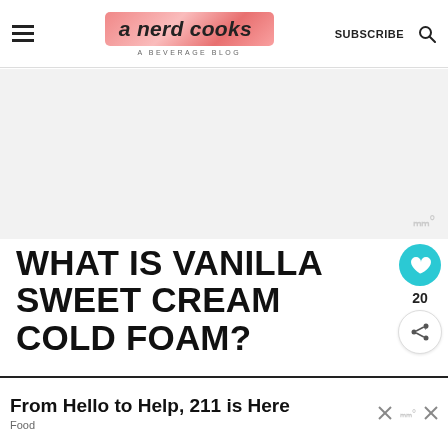a nerd cooks — A BEVERAGE BLOG | SUBSCRIBE
[Figure (other): Advertisement placeholder area, light gray background with watermark symbol]
WHAT IS VANILLA SWEET CREAM COLD FOAM?
Sweet cream cold foam is a delicious, sweetened, creamy topping for cold coffee be... You... n
[Figure (other): WHAT'S NEXT arrow widget: circular photo of cold foam drink, text 'How to Make Cold Foam']
From Hello to Help, 211 is Here — Food